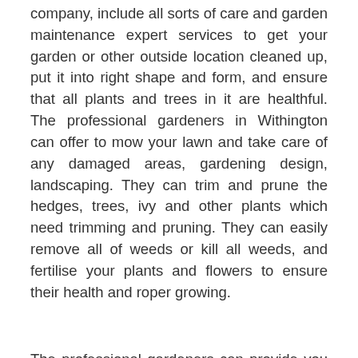company, include all sorts of care and garden maintenance expert services to get your garden or other outside location cleaned up, put it into right shape and form, and ensure that all plants and trees in it are healthful. The professional gardeners in Withington can offer to mow your lawn and take care of any damaged areas, gardening design, landscaping. They can trim and prune the hedges, trees, ivy and other plants which need trimming and pruning. They can easily remove all of weeds or kill all weeds, and fertilise your plants and flowers to ensure their health and roper growing.
The professional gardeners can provide you high quality tree surgery for all trees, garden maintenance, lawn mowing, lawn scarification, lawn repair, autumn and spring lawn care, weeding, lawn feeding for healthier plants, lawn aeration, garden clearance, ivy removal, and cutting. As soon as the professional gardeners have finished with their